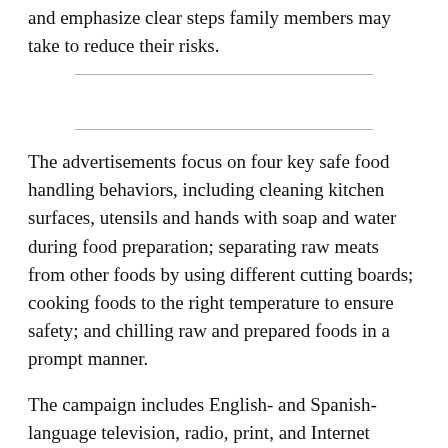and emphasize clear steps family members may take to reduce their risks.
The advertisements focus on four key safe food handling behaviors, including cleaning kitchen surfaces, utensils and hands with soap and water during food preparation; separating raw meats from other foods by using different cutting boards; cooking foods to the right temperature to ensure safety; and chilling raw and prepared foods in a prompt manner.
The campaign includes English- and Spanish-language television, radio, print, and Internet advertising, as well as a social media program. The social media applications include a redesigned FoodSafety.gov Facebook page and outreach via